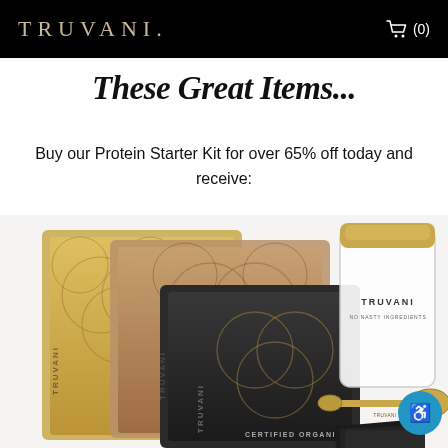TRUVANI. (0)
These Great Items...
Buy our Protein Starter Kit for over 65% off today and receive:
[Figure (photo): Truvani protein starter kit product photo showing multiple product pouches in gold, white/silver, and dark charcoal with ornate geometric patterns, a clear glass jar with gold lid labeled TRUVANI, gold measuring spoons, and dark product cards/packets arranged together.]